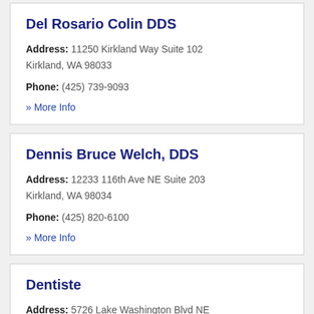Del Rosario Colin DDS
Address: 11250 Kirkland Way Suite 102 Kirkland, WA 98033
Phone: (425) 739-9093
» More Info
Dennis Bruce Welch, DDS
Address: 12233 116th Ave NE Suite 203 Kirkland, WA 98034
Phone: (425) 820-6100
» More Info
Dentiste
Address: 5726 Lake Washington Blvd NE